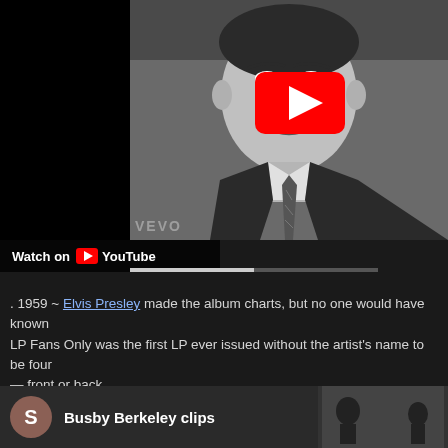[Figure (screenshot): YouTube video thumbnail showing a black-and-white photo of a man in a suit and tie with a YouTube play button overlay, and a 'Watch on YouTube' bar at the bottom of the thumbnail.]
. 1959 ~ Elvis Presley made the album charts, but no one would have known . LP Fans Only was the first LP ever issued without the artist's name to be found — front or back.
. 1976 ~ Busby Berkeley, U.S. director and choreographer, died. He was best known for mass choreography in the films "42nd Street," "Gold Diggers of 1933" and "R...
[Figure (screenshot): Bottom video card showing a brown avatar with letter S and title 'Busby Berkeley clips' with a black-and-white thumbnail on the right.]